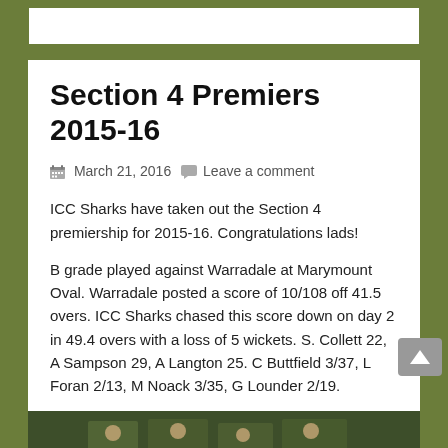Section 4 Premiers 2015-16
March 21, 2016  Leave a comment
ICC Sharks have taken out the Section 4 premiership for 2015-16. Congratulations lads!
B grade played against Warradale at Marymount Oval. Warradale posted a score of 10/108 off 41.5 overs. ICC Sharks chased this score down on day 2 in 49.4 overs with a loss of 5 wickets. S. Collett 22, A Sampson 29, A Langton 25. C Buttfield 3/37, L Foran 2/13, M Noack 3/35, G Lounder 2/19.
[Figure (photo): Group photo of cricket team at Marymount Oval]